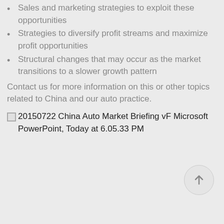Sales and marketing strategies to exploit these opportunities
Strategies to diversify profit streams and maximize profit opportunities
Structural changes that may occur as the market transitions to a slower growth pattern
Contact us for more information on this or other topics related to China and our auto practice.
[Figure (screenshot): Image attachment placeholder labeled: 20150722 China Auto Market Briefing vF Microsoft PowerPoint, Today at 6.05.33 PM]
[Figure (other): Scroll-to-top circular button with an upward arrow icon]